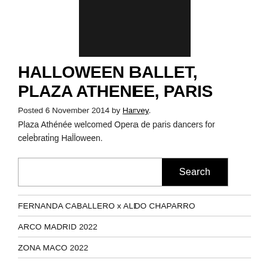[Figure (photo): Cropped photo of people at an event, dark background, partially visible at top of page]
HALLOWEEN BALLET, PLAZA ATHENEE, PARIS
Posted 6 November 2014 by Harvey.
Plaza Athénée welcomed Opera de paris dancers for celebrating Halloween.
[Figure (screenshot): Search bar with text input field and black Search button]
FERNANDA CABALLERO x ALDO CHAPARRO
ARCO MADRID 2022
ZONA MACO 2022